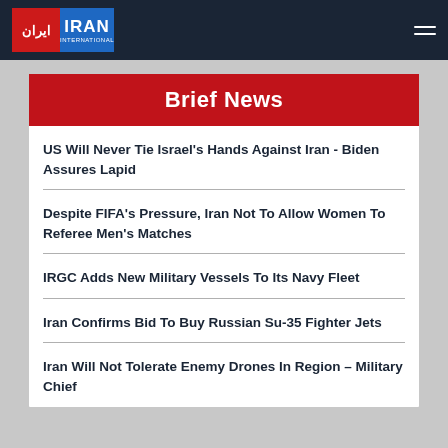Iran International
Brief News
US Will Never Tie Israel's Hands Against Iran - Biden Assures Lapid
Despite FIFA's Pressure, Iran Not To Allow Women To Referee Men's Matches
IRGC Adds New Military Vessels To Its Navy Fleet
Iran Confirms Bid To Buy Russian Su-35 Fighter Jets
Iran Will Not Tolerate Enemy Drones In Region – Military Chief